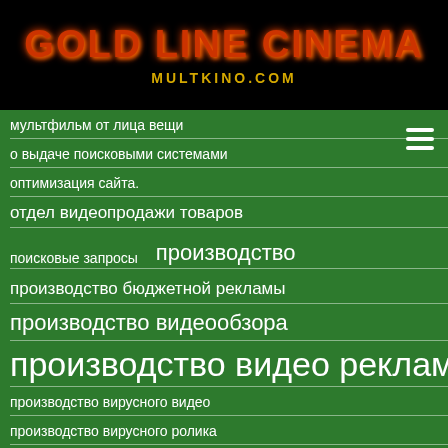GOLD LINE CINEMA
MULTKINO.COM
мультфильм от лица вещи
о выдаче поисковыми системами
оптимизация сайта.
отдел видеопродажи товаров
поисковые запросы   производство
производство бюджетной рекламы
производство видеообзора
производство видео рекламы
производство вирусного видео
производство вирусного ролика
производство вирусной анимации